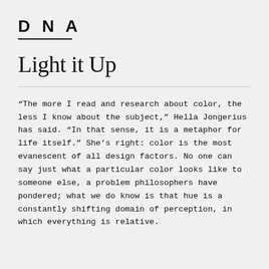DNA
Light it Up
“The more I read and research about color, the less I know about the subject,” Hella Jongerius has said. “In that sense, it is a metaphor for life itself.” She’s right: color is the most evanescent of all design factors. No one can say just what a particular color looks like to someone else, a problem philosophers have pondered; what we do know is that hue is a constantly shifting domain of perception, in which everything is relative.